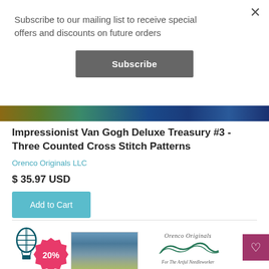Subscribe to our mailing list to receive special offers and discounts on future orders
Subscribe
[Figure (photo): Colorful cross stitch pattern image strip showing Van Gogh impressionist artwork]
Impressionist Van Gogh Deluxe Treasury #3 - Three Counted Cross Stitch Patterns
Orenco Originals LLC
$ 35.97 USD
Add to Cart
[Figure (logo): Hot air balloon logo icon in teal/dark teal color]
[Figure (photo): Small product thumbnail photo]
[Figure (logo): Orenco Originals LLC logo with decorative script and tagline For The Artful Needleworker]